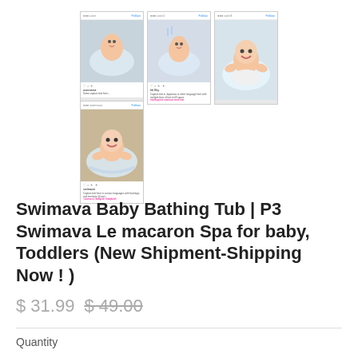[Figure (screenshot): Three Instagram post screenshots showing babies in Swimava baby bathing tubs]
[Figure (screenshot): One Instagram post screenshot showing a baby in a Swimava baby bathing tub]
Swimava Baby Bathing Tub | P3 Swimava Le macaron Spa for baby, Toddlers (New Shipment-Shipping Now ! )
$ 31.99 $ 49.00
Quantity